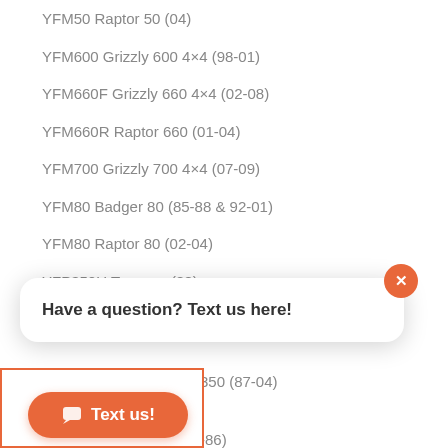YFM50 Raptor 50 (04)
YFM600 Grizzly 600 4×4 (98-01)
YFM660F Grizzly 660 4×4 (02-08)
YFM660R Raptor 660 (01-04)
YFM700 Grizzly 700 4×4 (07-09)
YFM80 Badger 80 (85-88 & 92-01)
YFM80 Raptor 80 (02-04)
YFP350U Terrapro (88)
YFS200 Blaster 200/Moto-4 (88-06)
Have a question? Text us here!
YFZ350 B... 350 (87-04)
... (... -86)
... (... -83)